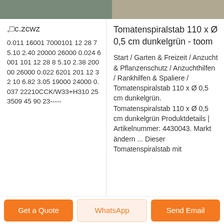[Figure (photo): Top-left partial image showing a green/grey object (tomato spiral stake)]
[Figure (photo): Top-right partial image showing a light brown/grey object]
,□c.zcwz
0.011 16001 7000101 12 28 7 5.10 2.40 20000 26000 0.024 6001 101 12 28 8 5.10 2.38 20000 26000 0.022 6201 201 12 32 10 6.82 3.05 19000 24000 0.037 22210CCK/W33+H310 253509 45 90 23-----
Tomatenspiralstab 110 x Ø 0,5 cm dunkelgrün - toom
Start / Garten & Freizeit / Anzucht & Pflanzenschutz / Anzuchthilfen / Rankhilfen & Spaliere / Tomatenspiralstab 110 x Ø 0,5 cm dunkelgrün. Tomatenspiralstab 110 x Ø 0,5 cm dunkelgrün Produktdetails | Artikelnummer: 4430043. Markt ändern ... Dieser Tomatenspiralstab mit
Get a Quote
WhatsApp
Send Email